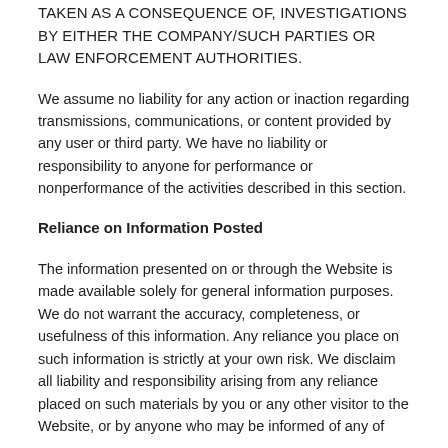TAKEN AS A CONSEQUENCE OF, INVESTIGATIONS BY EITHER THE COMPANY/SUCH PARTIES OR LAW ENFORCEMENT AUTHORITIES.
We assume no liability for any action or inaction regarding transmissions, communications, or content provided by any user or third party. We have no liability or responsibility to anyone for performance or nonperformance of the activities described in this section.
Reliance on Information Posted
The information presented on or through the Website is made available solely for general information purposes. We do not warrant the accuracy, completeness, or usefulness of this information. Any reliance you place on such information is strictly at your own risk. We disclaim all liability and responsibility arising from any reliance placed on such materials by you or any other visitor to the Website, or by anyone who may be informed of any of